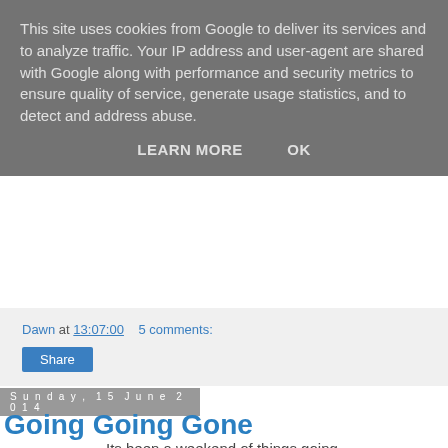This site uses cookies from Google to deliver its services and to analyze traffic. Your IP address and user-agent are shared with Google along with performance and security metrics to ensure quality of service, generate usage statistics, and to detect and address abuse.
LEARN MORE   OK
Dawn at 13:07:00   5 comments:
Share
Sunday, 15 June 2014
Going Going Gone
Its been a weekend of things going,
[Figure (photo): Outdoor photo showing green trees and foliage]